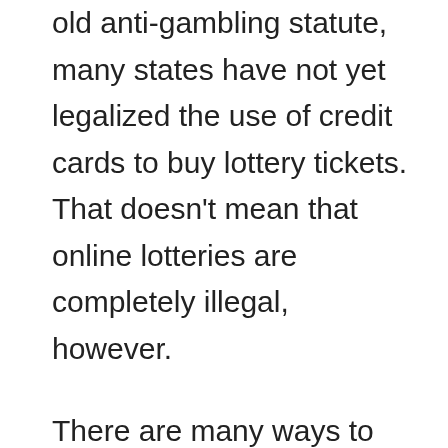Supreme Court ruling overturning a fifty-year old anti-gambling statute, many states have not yet legalized the use of credit cards to buy lottery tickets. That doesn't mean that online lotteries are completely illegal, however.
There are many ways to determine the legality of online lottery games. Legality is generally the most important factor, and a good way to determine if an online lottery is legal in your state is to check with the state lottery. Most states have a legal framework that protects online lottery games, and they can sell lottery games through a state-